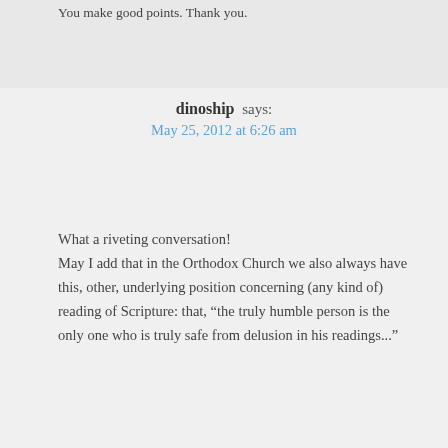You make good points. Thank you.
dinoship says:
May 25, 2012 at 6:26 am
What a riveting conversation!
May I add that in the Orthodox Church we also always have this, other, underlying position concerning (any kind of) reading of Scripture: that, “the truly humble person is the only one who is truly safe from delusion in his readings...”